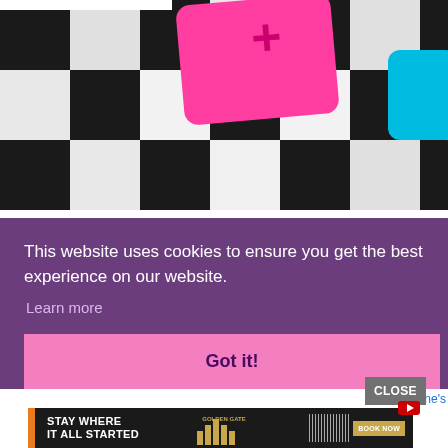[Figure (photo): Close-up photo of colorful calculator keys (pink/hot pink with a plus symbol, and cyan/turquoise) resting on a black-and-white checkered fabric surface. The image is cropped showing only the top portion.]
This website uses cookies to ensure you get the best experience on our website.
Learn more
Got it!
CLOSE
ni, Valentine's
[Figure (screenshot): Advertisement banner: STAY WHERE IT ALL STARTED with Golden Gate hotel logo and BOOK NOW button on dark background.]